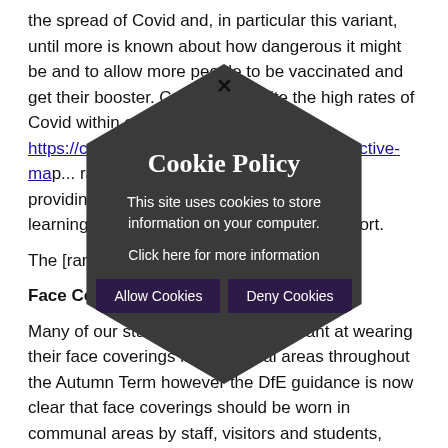the spread of Covid and, in particular this variant, until more is known about how dangerous it might be and to allow more people to be vaccinated and get their booster. Currently despite the high rates of Covid within our communities https://coronavirus.data.gov.uk/details/interactive-map/... rate of Covid... remain relatively low... providing people are not in school in-person learning. Thank you for your continued support.
The [range]...
Face Coverings
Many of our students have been brilliant at wearing their face coverings in communal areas throughout the Autumn Term however the DfE guidance is now clear that face coverings should be worn in communal areas by staff, visitors and students, unless they are exempt. Parents and carers should make sure that their child brings a suitable
[Figure (other): Cookie Policy overlay in a dark hexagon shape. Title: 'Cookie Policy'. Description: 'This site uses cookies to store information on your computer.' Link text: 'Click here for more information'. Two buttons: 'Allow Cookies' and 'Deny Cookies'. A close X button at the top.]